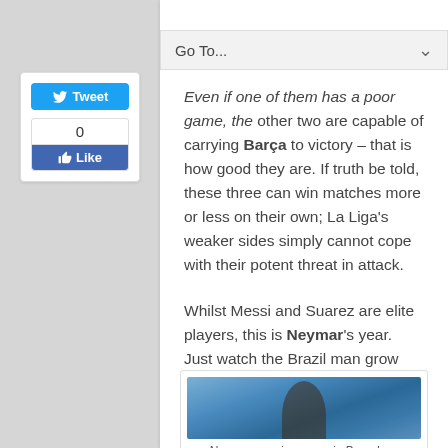Go To...
Even if one of them has a poor game, the other two are capable of carrying Barça to victory – that is how good they are. If truth be told, these three can win matches more or less on their own; La Liga's weaker sides simply cannot cope with their potent threat in attack.
Whilst Messi and Suarez are elite players, this is Neymar's year. Just watch the Brazil man grow and prosper at the forefront of Barcelona's brilliant attack… you won't regret it.
[Figure (photo): Neymar wearing a Barcelona cap, looking to the side, with blue stadium background]
Neymar wearing a cap in Barcelona